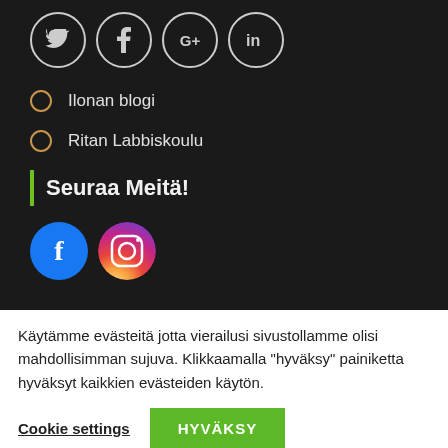[Figure (other): Four social media icons in grey circles: Twitter (bird), Facebook (f), Google+ (G+), LinkedIn (in)]
Ilonan blogi
Ritan Labbiskoulu
Seuraa Meitä!
[Figure (other): Facebook blue circle icon and Instagram gradient circle icon]
Käyttöehdot
Käytämme evästeitä jotta vierailusi sivustollamme olisi mahdollisimman sujuva. Klikkaamalla "hyväksy" painiketta hyväksyt kaikkien evästeiden käytön.
Cookie settings   HYVÄKSY